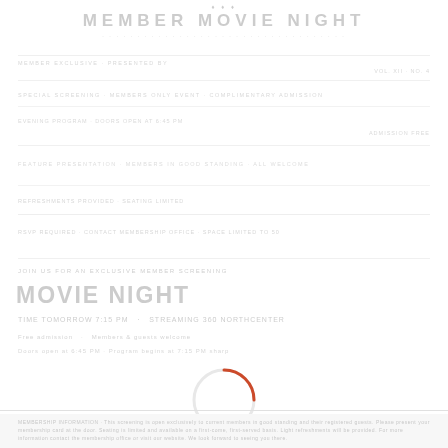MEMBER MOVIE NIGHT
MOVIE NIGHT
TIME TOMORROW 7:15 PM · STREAMING 360 Northcenter
Free admission
[Figure (other): Loading spinner circle with red/orange arc segment]
Footer text block with member information